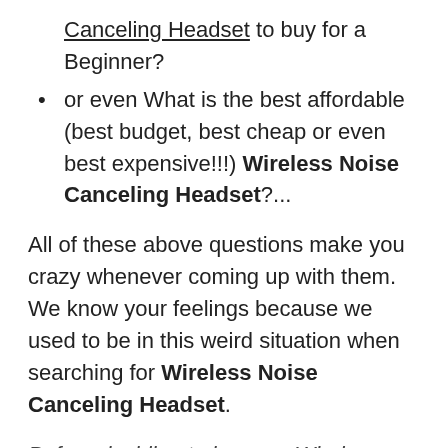Canceling Headset to buy for a Beginner?
or even What is the best affordable (best budget, best cheap or even best expensive!!!) Wireless Noise Canceling Headset?...
All of these above questions make you crazy whenever coming up with them. We know your feelings because we used to be in this weird situation when searching for Wireless Noise Canceling Headset.
Before deciding to buy any Wireless Noise